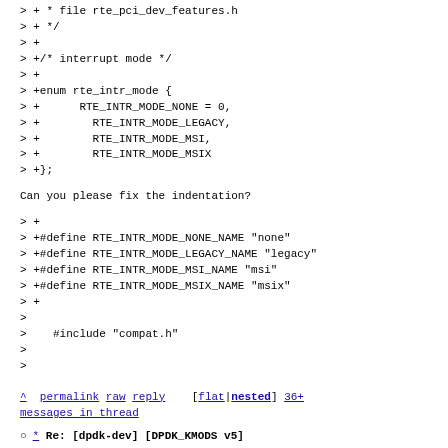> + * file rte_pci_dev_features.h
> + */
> +
> +/* interrupt mode */
> +
> +enum rte_intr_mode {
> +      RTE_INTR_MODE_NONE = 0,
> +        RTE_INTR_MODE_LEGACY,
> +        RTE_INTR_MODE_MSI,
> +        RTE_INTR_MODE_MSIX
> +};
Can you please fix the indentation?
> +
> +#define RTE_INTR_MODE_NONE_NAME "none"
> +#define RTE_INTR_MODE_LEGACY_NAME "legacy"
> +#define RTE_INTR_MODE_MSI_NAME "msi"
> +#define RTE_INTR_MODE_MSIX_NAME "msix"
> +
>
>     #include "compat.h"
>
>
^ permalink raw reply    [flat|nested] 36+ messages in thread
* Re: [dpdk-dev] [DPDK_KMODS v5]